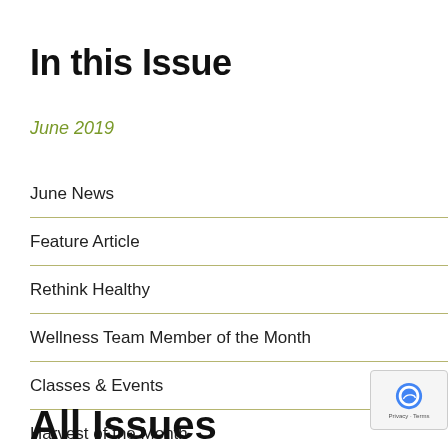In this Issue
June 2019
June News
Feature Article
Rethink Healthy
Wellness Team Member of the Month
Classes & Events
Harvest of the Month
All Issues